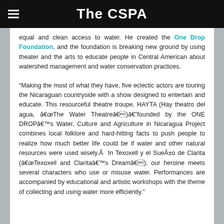The CSPA
equal and clean access to water. He created the One Drop Foundation, and the foundation is breaking new ground by using theater and the arts to educate people in Central American about watershed management and water conservation practices.
“Making the most of what they have, five eclectic actors are touring the Nicaraguan countryside with a show designed to entertain and educate. This resourceful theatre troupe, HAYTA (Hay theatro del agua, â€œThe Water Theatreâ€)â€”founded by the ONE DROPâ€™s Water, Culture and Agriculture in Nicaragua Project combines local folklore and hard-hitting facts to push people to realize how much better life could be if water and other natural resources were used wisely.Â In Texoxell y el SueÃ±o de Clarita (â€œTexoxell and Claritaâ€™s Dreamâ€), our heroine meets several characters who use or misuse water. Performances are accompanied by educational and artistic workshops with the theme of collecting and using water more efficiently.”